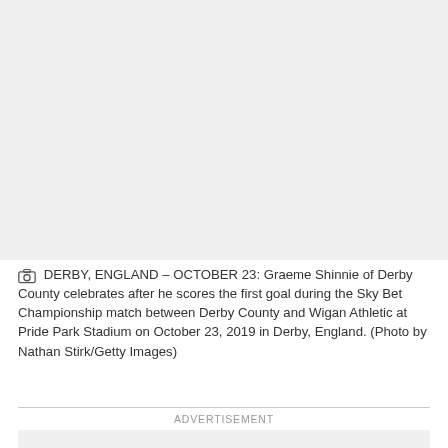[Figure (photo): Placeholder area for a photo of Graeme Shinnie of Derby County celebrating a goal]
DERBY, ENGLAND – OCTOBER 23: Graeme Shinnie of Derby County celebrates after he scores the first goal during the Sky Bet Championship match between Derby County and Wigan Athletic at Pride Park Stadium on October 23, 2019 in Derby, England. (Photo by Nathan Stirk/Getty Images)
ADVERTISEMENT
[Figure (other): Advertisement placeholder box]